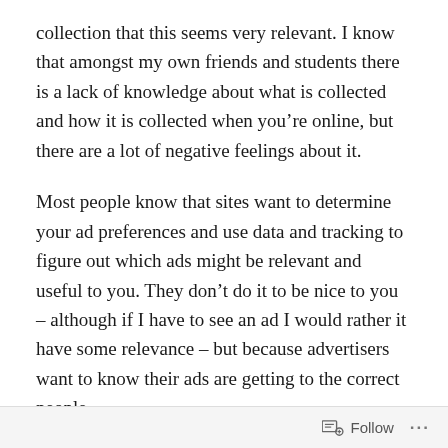collection that this seems very relevant. I know that amongst my own friends and students there is a lack of knowledge about what is collected and how it is collected when you're online, but there are a lot of negative feelings about it.
Most people know that sites want to determine your ad preferences and use data and tracking to figure out which ads might be relevant and useful to you. They don't do it to be nice to you – although if I have to see an ad I would rather it have some relevance – but because advertisers want to know their ads are getting to the correct people.
Your Facebook profile information and interactions with friend and businesses influences the ads you see. It is
Follow ···